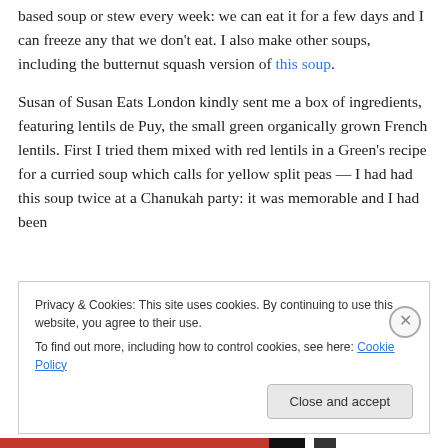based soup or stew every week: we can eat it for a few days and I can freeze any that we don't eat. I also make other soups, including the butternut squash version of this soup.
Susan of Susan Eats London kindly sent me a box of ingredients, featuring lentils de Puy, the small green organically grown French lentils. First I tried them mixed with red lentils in a Green's recipe for a curried soup which calls for yellow split peas — I had had this soup twice at a Chanukah party: it was memorable and I had been
Privacy & Cookies: This site uses cookies. By continuing to use this website, you agree to their use.
To find out more, including how to control cookies, see here: Cookie Policy